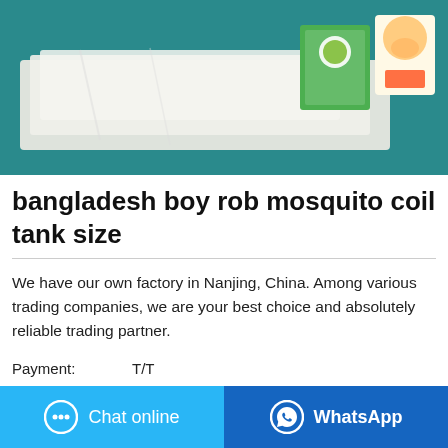[Figure (photo): Product photo showing white fabric/sheets on a teal surface with baby product packaging in the background]
bangladesh boy rob mosquito coil tank size
We have our own factory in Nanjing, China. Among various trading companies, we are your best choice and absolutely reliable trading partner.
| Payment: | T/T |
| Shipping: | Less than Container Load (LCL)
Service to US Get shipping quote |
| OEM/ODM: | Available |